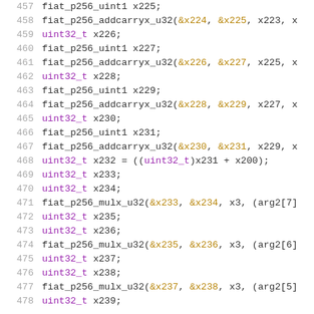457-478: C code listing with fiat_p256 cryptographic operations including variable declarations and function calls for addcarryx_u32 and mulx_u32